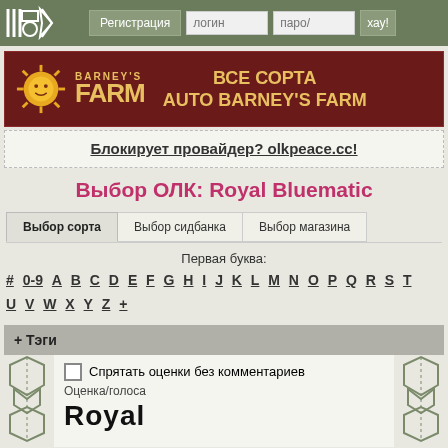≡ ❖ ♦ ✦   Регистрация   логин   пароль   хау!
[Figure (illustration): Barney's Farm advertisement banner with sun logo and text ВСЕ СОРТА AUTO BARNEY'S FARM on dark red background]
Блокирует провайдер? olkpeace.cc!
Выбор ОЛК: Royal Bluematic
Выбор сорта   Выбор сидбанка   Выбор магазина
Первая буква:
# 0-9 A B C D E F G H I J K L M N O P Q R S T U V W X Y Z +
+ Тэги
Спрятать оценки без комментариев
Оценка/голоса
Royal